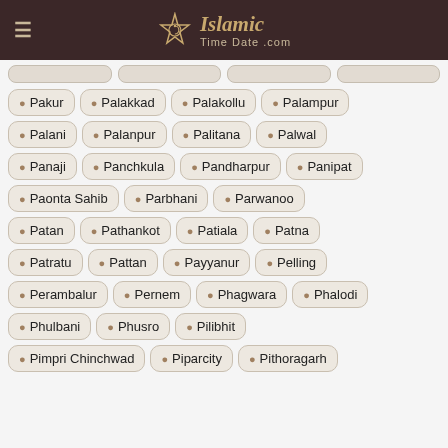Islamic TimeDate.com
Pakur
Palakkad
Palakollu
Palampur
Palani
Palanpur
Palitana
Palwal
Panaji
Panchkula
Pandharpur
Panipat
Paonta Sahib
Parbhani
Parwanoo
Patan
Pathankot
Patiala
Patna
Patratu
Pattan
Payyanur
Pelling
Perambalur
Pernem
Phagwara
Phalodi
Phulbani
Phusro
Pilibhit
Pimpri Chinchwad
Piparcity
Pithoragarh